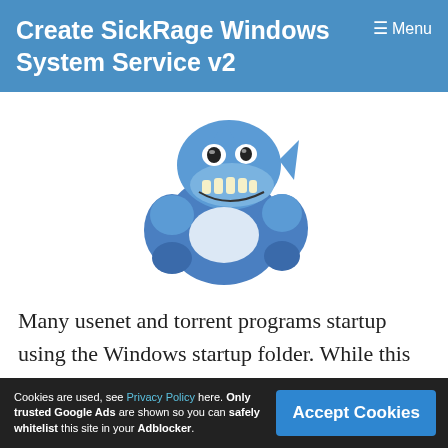Create SickRage Windows System Service v2
[Figure (illustration): SickRage mascot: a cartoon muscular blue shark flexing, grinning with big teeth]
Many usenet and torrent programs startup using the Windows startup folder. While this generally works it is not ideal for processes
Cookies are used, see Privacy Policy here. Only trusted Google Ads are shown so you can safely whitelist this site in your Adblocker.
Accept Cookies